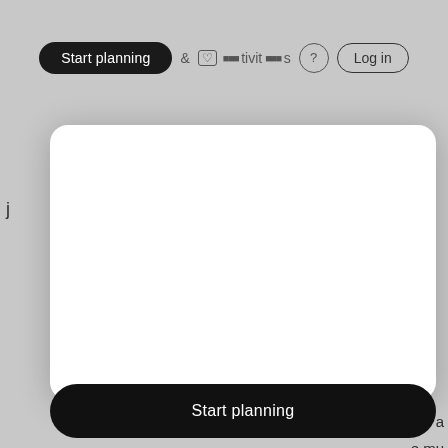Start planning  &  Activities  ?  Log in
j
nts a e mu
n th
[Figure (screenshot): A white modal card overlay on a gray webpage background, with a black 'Start planning' button at the bottom]
Start planning